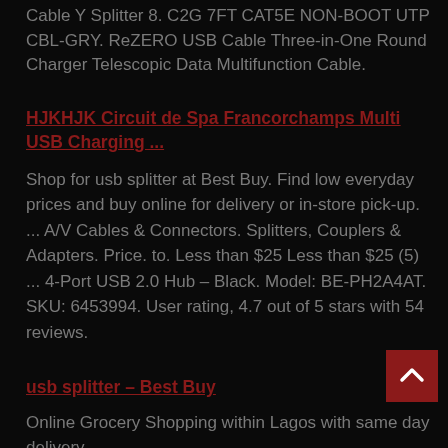Cable Y Splitter 8. C2G 7FT CAT5E NON-BOOT UTP CBL-GRY. ReZERO USB Cable Three-in-One Round Charger Telescopic Data Multifunction Cable.
HJKHJK Circuit de Spa Francorchamps Multi USB Charging ...
Shop for usb splitter at Best Buy. Find low everyday prices and buy online for delivery or in-store pick-up. ... A/V Cables & Connectors. Splitters, Couplers & Adapters. Price. to. Less than $25 Less than $25 (5) ... 4-Port USB 2.0 Hub – Black. Model: BE-PH2A4AT. SKU: 6453994. User rating, 4.7 out of 5 stars with 54 reviews.
usb splitter – Best Buy
Online Grocery Shopping within Lagos with same day delivery.